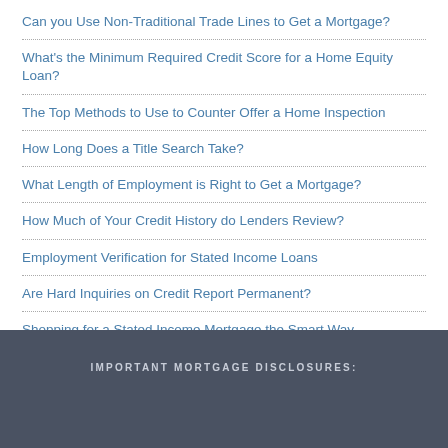Can you Use Non-Traditional Trade Lines to Get a Mortgage?
What's the Minimum Required Credit Score for a Home Equity Loan?
The Top Methods to Use to Counter Offer a Home Inspection
How Long Does a Title Search Take?
What Length of Employment is Right to Get a Mortgage?
How Much of Your Credit History do Lenders Review?
Employment Verification for Stated Income Loans
Are Hard Inquiries on Credit Report Permanent?
Shopping for a Stated Income Mortgage the Smart Way
IMPORTANT MORTGAGE DISCLOSURES: